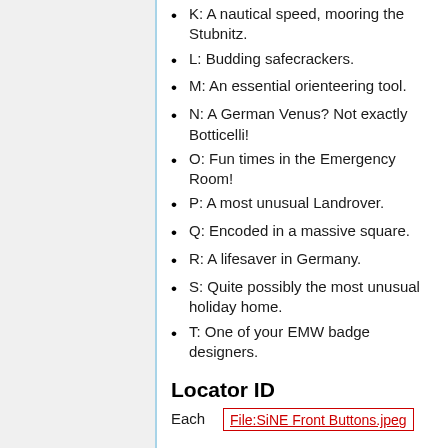K: A nautical speed, mooring the Stubnitz.
L: Budding safecrackers.
M: An essential orienteering tool.
N: A German Venus? Not exactly Botticelli!
O: Fun times in the Emergency Room!
P: A most unusual Landrover.
Q: Encoded in a massive square.
R: A lifesaver in Germany.
S: Quite possibly the most unusual holiday home.
T: One of your EMW badge designers.
Locator ID
Each
File:SiNE Front Buttons.jpeg